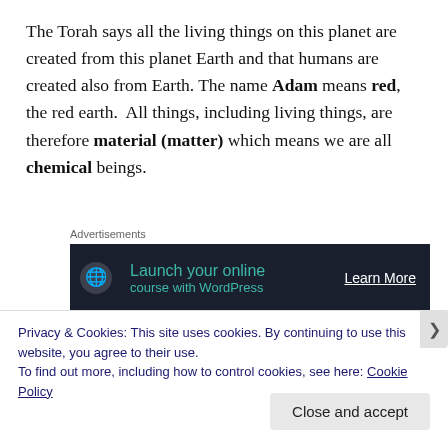The Torah says all the living things on this planet are created from this planet Earth and that humans are created also from Earth. The name Adam means red, the red earth.  All things, including living things, are therefore material (matter) which means we are all chemical beings.
[Figure (other): Advertisement banner: 'Launch your online course with WordPress' with 'Learn More' button on dark navy background]
But all things also have what the Kabbalists (the mystics) would say, a spark of the divine. So all material things are
Privacy & Cookies: This site uses cookies. By continuing to use this website, you agree to their use. To find out more, including how to control cookies, see here: Cookie Policy